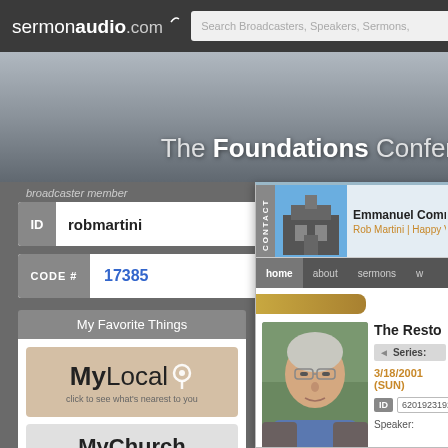sermonaudio.com | Search Broadcasters, Speakers, Sermons,
The Foundations Conference
broadcaster member
ID  robmartini  SOLO
CODE #  17385
My Favorite Things
[Figure (logo): MyLocal logo with map pin icon and text 'click to see what's nearest to you']
[Figure (logo): MyChurch logo with text 'click to specify your home church']
[Figure (screenshot): Emmanuel Community Church broadcaster page on SermonAudio showing church photo, Rob Martini | Happy Valley, navigation tabs (home, about, sermons, w...), a person photo, sermon title 'The Resto...', Series section, date 3/18/2001 (SUN), ID 62019231920, Speaker label]
Emmanuel Commu...
Rob Martini | Happy Valley
home   about   sermons   w
The Resto...
Series:
3/18/2001 (SUN)
ID  62019231920
Speaker: